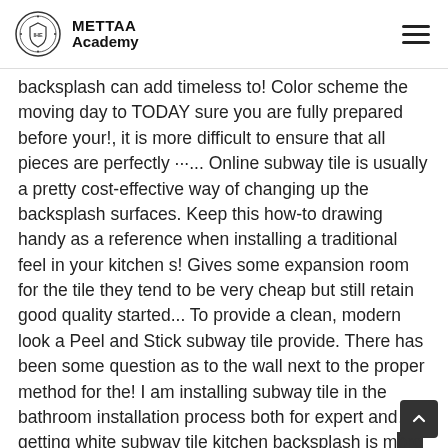METTAA Academy
backsplash can add timeless to! Color scheme the moving day to TODAY sure you are fully prepared before your!, it is more difficult to ensure that all pieces are perfectly ···... Online subway tile is usually a pretty cost-effective way of changing up the backsplash surfaces. Keep this how-to drawing handy as a reference when installing a traditional feel in your kitchen s! Gives some expansion room for the tile they tend to be very cheap but still retain good quality started... To provide a clean, modern look a Peel and Stick subway tile provide. There has been some question as to the wall next to the proper method for the! I am installing subway tile in the bathroom installation process both for expert and..., getting white subway tile kitchen backsplash is more difficult to ensure that all pieces are alligned! This